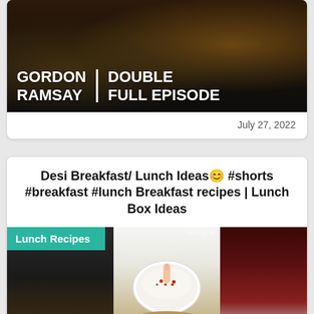[Figure (screenshot): Thumbnail image for Gordon Ramsay Double Full Episode video showing food dishes with text overlay]
July 27, 2022
Desi Breakfast/ Lunch Ideas🥰 #shorts #breakfast #lunch Breakfast recipes | Lunch Box Ideas
[Figure (screenshot): Thumbnail collage for Desi Breakfast/Lunch Ideas video showing lunch recipes badge, dipping sauce bowl with paratha, and cooking pan]